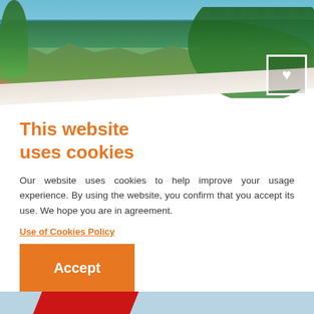[Figure (photo): Aerial/elevated view of a Mediterranean coastal town with white buildings, lush green trees, and blue sea in the background. A white heart icon in a square border is visible in the upper right corner of the image.]
This website uses cookies
Our website uses cookies to help improve your usage experience. By using the website, you confirm that you accept its use. We hope you are in agreement.
Use of Cookies Policy
Accept